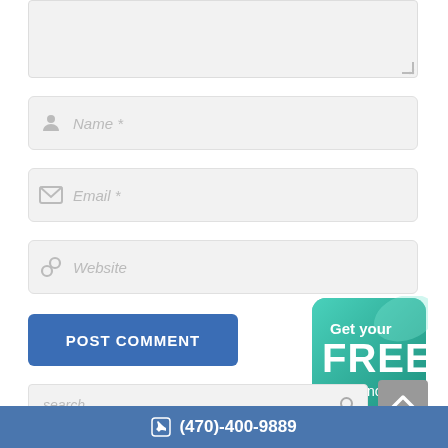[Figure (screenshot): Textarea input field (comment box), partially visible at top, light gray background with resize handle]
[Figure (screenshot): Name input field with person icon and placeholder text 'Name *']
[Figure (screenshot): Email input field with envelope icon and placeholder text 'Email *']
[Figure (screenshot): Website input field with link icon and placeholder text 'Website']
POST COMMENT
[Figure (illustration): Teal/green badge with text 'Get your FREE quote now!']
[Figure (screenshot): Gray scroll-to-top button with upward chevron]
[Figure (screenshot): Search bar with placeholder 'search ...' and magnifying glass icon]
(470)-400-9889